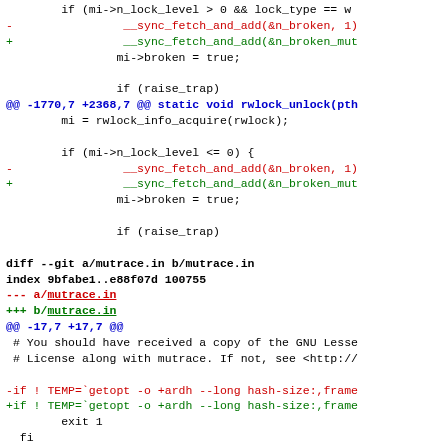if (mi->n_lock_level > 0 && lock_type == w
-                __sync_fetch_and_add(&n_broken, 1)
+                __sync_fetch_and_add(&n_broken_mut
                mi->broken = true;

                if (raise_trap)
@@ -1770,7 +2368,7 @@ static void rwlock_unlock(pth
        mi = rwlock_info_acquire(rwlock);

        if (mi->n_lock_level <= 0) {
-                __sync_fetch_and_add(&n_broken, 1)
+                __sync_fetch_and_add(&n_broken_mut
                mi->broken = true;

                if (raise_trap)

diff --git a/mutrace.in b/mutrace.in
index 9bfabe1..e88f07d 100755
--- a/mutrace.in
+++ b/mutrace.in
@@ -17,7 +17,7 @@
 # You should have received a copy of the GNU Lesse
 # License along with mutrace. If not, see <http://

-if ! TEMP=`getopt -o +ardh --long hash-size:,frame
+if ! TEMP=`getopt -o +ardh --long hash-size:,frame
        exit 1
  fi

@@ -57,8 +57,13 @@ while : ; do
                shift 2